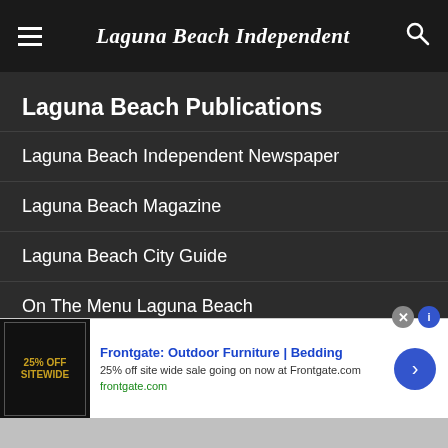Laguna Beach Independent
Laguna Beach Publications
Laguna Beach Independent Newspaper
Laguna Beach Magazine
Laguna Beach City Guide
On The Menu Laguna Beach
California Business Journal (partner)
[Figure (screenshot): Advertisement banner for Frontgate: Outdoor Furniture | Bedding. Shows '25% OFF SITEWIDE' ad image on left, blue title text 'Frontgate: Outdoor Furniture | Bedding', description '25% off site wide sale going on now at Frontgate.com', green URL 'frontgate.com', and a blue circular arrow button on the right.]